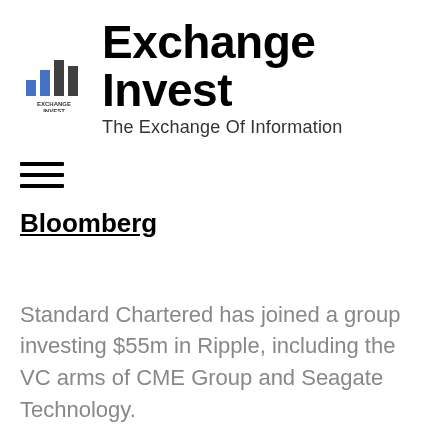[Figure (logo): Exchange Invest logo with bar chart icon in blue and dark grey, with text EXCHANGE INVEST below]
Exchange Invest
The Exchange Of Information
[Figure (other): Hamburger menu icon (three horizontal lines)]
Bloomberg
Standard Chartered has joined a group investing $55m in Ripple, including the VC arms of CME Group and Seagate Technology.